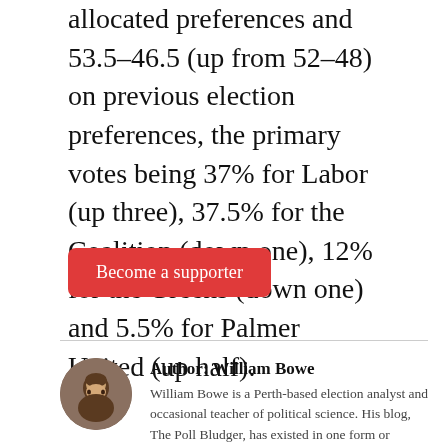allocated preferences and 53.5–46.5 (up from 52–48) on previous election preferences, the primary votes being 37% for Labor (up three), 37.5% for the Coalition (down one), 12% for the Greens (down one) and 5.5% for Palmer United (up half).
Become a supporter
Author: William Bowe
William Bowe is a Perth-based election analyst and occasional teacher of political science. His blog, The Poll Bludger, has existed in one form or another since 2004, and is one of the most heavily trafficked websites on Australian politics. View all posts by William Bowe